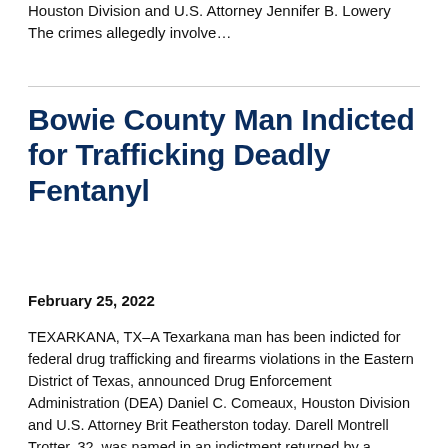Houston Division and U.S. Attorney Jennifer B. Lowery The crimes allegedly involve...
Bowie County Man Indicted for Trafficking Deadly Fentanyl
February 25, 2022
TEXARKANA, TX–A Texarkana man has been indicted for federal drug trafficking and firearms violations in the Eastern District of Texas, announced Drug Enforcement Administration (DEA) Daniel C. Comeaux, Houston Division and U.S. Attorney Brit Featherston today. Darell Montrell Trotter, 32, was named in an indictment returned by a federal...